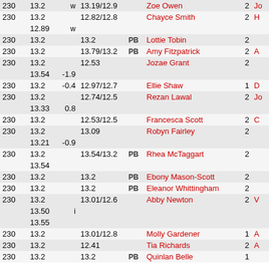| Rank | Perf | Wind | Best | PB | Name | Num | Club |
| --- | --- | --- | --- | --- | --- | --- | --- |
| 230 | 13.2 | w | 13.19/12.9 |  | Zoe Owen | 2 | Jo... |
| 230 | 13.2 |  | 12.82/12.8 |  | Chayce Smith | 2 | H... |
|  | 12.89 | w |  |  |  |  |  |
| 230 | 13.2 |  | 13.2 | PB | Lottie Tobin | 2 |  |
| 230 | 13.2 |  | 13.79/13.2 | PB | Amy Fitzpatrick | 2 | A... |
| 230 | 13.2 |  | 12.53 |  | Jozae Grant | 2 |  |
|  | 13.54 | -1.9 |  |  |  |  |  |
| 230 | 13.2 | -0.4 | 12.97/12.7 |  | Ellie Shaw | 1 | D... |
| 230 | 13.2 |  | 12.74/12.5 |  | Rezan Lawal | 2 | Jo... |
|  | 13.33 | 0.8 |  |  |  |  |  |
| 230 | 13.2 |  | 12.53/12.5 |  | Francesca Scott | 2 | C... |
| 230 | 13.2 |  | 13.09 |  | Robyn Fairley | 2 |  |
|  | 13.21 | -0.9 |  |  |  |  |  |
| 230 | 13.2 |  | 13.54/13.2 | PB | Rhea McTaggart | 2 |  |
|  | 13.54 |  |  |  |  |  |  |
| 230 | 13.2 |  | 13.2 | PB | Ebony Mason-Scott | 2 |  |
| 230 | 13.2 |  | 13.2 | PB | Eleanor Whittingham | 2 |  |
| 230 | 13.2 |  | 13.01/12.6 |  | Abby Newton | 2 | V... |
|  | 13.50 | i |  |  |  |  |  |
|  | 13.55 |  |  |  |  |  |  |
| 230 | 13.2 |  | 13.01/12.8 |  | Molly Gardener | 1 | A... |
| 230 | 13.2 |  | 12.41 |  | Tia Richards | 2 | A... |
| 230 | 13.2 |  | 13.2 | PB | Quinlan Belle | 1 |  |